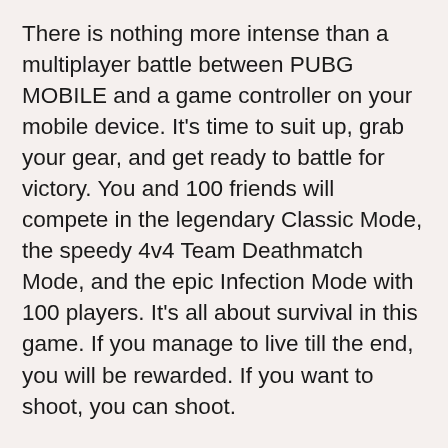There is nothing more intense than a multiplayer battle between PUBG MOBILE and a game controller on your mobile device. It's time to suit up, grab your gear, and get ready to battle for victory. You and 100 friends will compete in the legendary Classic Mode, the speedy 4v4 Team Deathmatch Mode, and the epic Infection Mode with 100 players. It's all about survival in this game. If you manage to live till the end, you will be rewarded. If you want to shoot, you can shoot.
If you want to play the game, you need a stable internet connection.
Android version 5.1.1 or newer with at least 2GB of RAM is the recommended system requirement for playing PUBG MOBILE. You